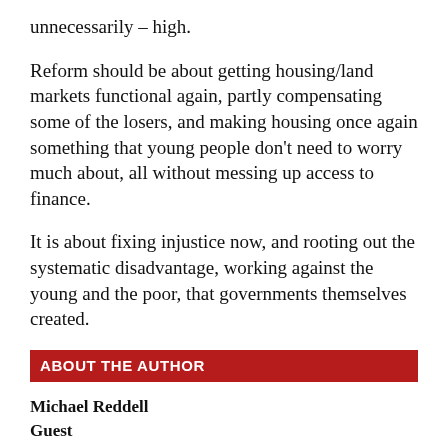unnecessarily – high.
Reform should be about getting housing/land markets functional again, partly compensating some of the losers, and making housing once again something that young people don't need to worry much about, all without messing up access to finance.
It is about fixing injustice now, and rooting out the systematic disadvantage, working against the young and the poor, that governments themselves created.
ABOUT THE AUTHOR
Michael Reddell
Guest
Michael Reddell was formerly a senior official at the